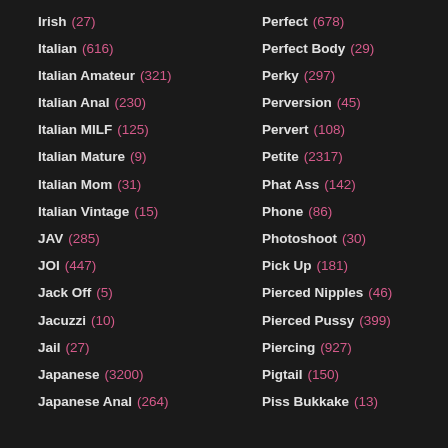Irish (27)
Italian (616)
Italian Amateur (321)
Italian Anal (230)
Italian MILF (125)
Italian Mature (9)
Italian Mom (31)
Italian Vintage (15)
JAV (285)
JOI (447)
Jack Off (5)
Jacuzzi (10)
Jail (27)
Japanese (3200)
Japanese Anal (264)
Perfect (678)
Perfect Body (29)
Perky (297)
Perversion (45)
Pervert (108)
Petite (2317)
Phat Ass (142)
Phone (86)
Photoshoot (30)
Pick Up (181)
Pierced Nipples (46)
Pierced Pussy (399)
Piercing (927)
Pigtail (150)
Piss Bukkake (13)